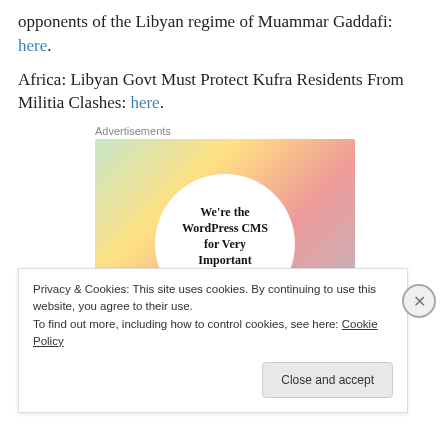opponents of the Libyan regime of Muammar Gaddafi: here.
Africa: Libyan Govt Must Protect Kufra Residents From Militia Clashes: here.
[Figure (illustration): Advertisement banner showing colorful magazine covers in background with a white circle overlay containing text: We're the WordPress CMS for Very Important Content]
Privacy & Cookies: This site uses cookies. By continuing to use this website, you agree to their use.
To find out more, including how to control cookies, see here: Cookie Policy
Close and accept